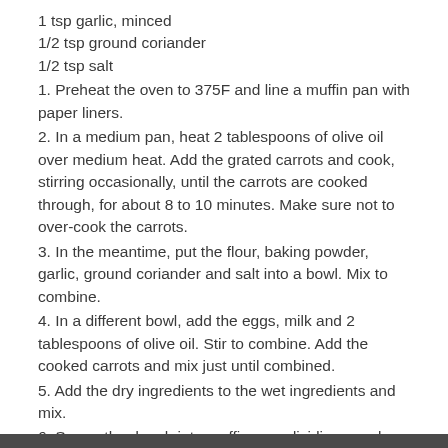1 tsp garlic, minced
1/2 tsp ground coriander
1/2 tsp salt
1. Preheat the oven to 375F and line a muffin pan with paper liners.
2. In a medium pan, heat 2 tablespoons of olive oil over medium heat. Add the grated carrots and cook, stirring occasionally, until the carrots are cooked through, for about 8 to 10 minutes. Make sure not to over-cook the carrots.
3. In the meantime, put the flour, baking powder, garlic, ground coriander and salt into a bowl. Mix to combine.
4. In a different bowl, add the eggs, milk and 2 tablespoons of olive oil. Stir to combine. Add the cooked carrots and mix just until combined.
5. Add the dry ingredients to the wet ingredients and mix.
6. Spoon the dough into muffin pan, dividing evenly. Bake in the preheated oven for 35 minutes, or until a toothpick inserted into the center of a muffin comes out cleanly.